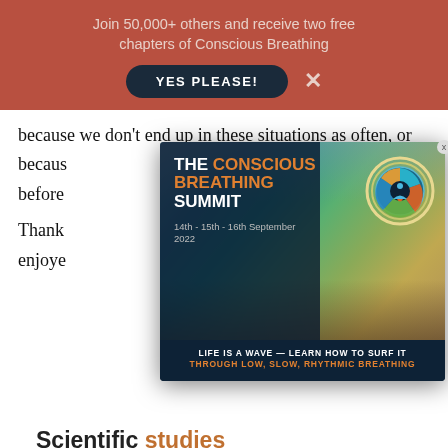Join 50,000+ others and receive two free chapters of Conscious Breathing
because we don't end up in these situations as often, or because we don't end up in these situations as often, or because … ssful as before
[Figure (infographic): The Conscious Breathing Summit promotional modal overlay. Dark navy background with text: THE CONSCIOUS BREATHING SUMMIT, 14th - 15th - 16th September 2022. Orange text: CONSCIOUS BREATHING. Background shows rocky coastline photo. Logo: circular emblem with human figure. Bottom text: LIFE IS A WAVE — LEARN HOW TO SURF IT / THROUGH LOW, SLOW, RHYTHMIC BREATHING]
Thank … u enjoyed
Scientific studies
Low carbon dioxide levels lead to increased levels of adrenaline and blood platelets